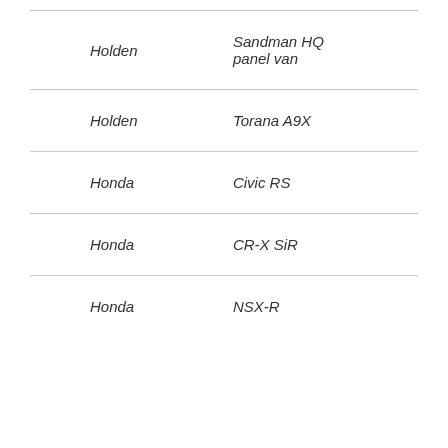| Holden | Sandman HQ panel van |
| Holden | Torana A9X |
| Honda | Civic RS |
| Honda | CR-X SiR |
| Honda | NSX-R |